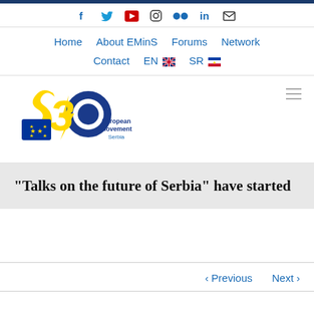Social media icons: Facebook, Twitter, YouTube, Instagram, Flickr, LinkedIn, Email
Navigation: Home | About EMinS | Forums | Network | Contact | EN | SR
[Figure (logo): European Movement Serbia 30th anniversary logo — yellow '30' with EU stars and flag motif, text 'European Movement Serbia']
“Talks on the future of Serbia” have started
< Previous   Next >